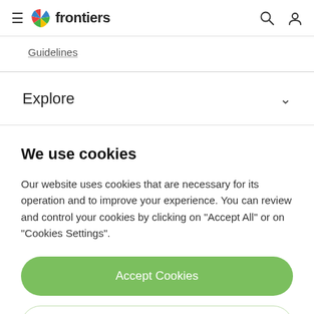frontiers
Guidelines
Explore
We use cookies
Our website uses cookies that are necessary for its operation and to improve your experience. You can review and control your cookies by clicking on "Accept All" or on "Cookies Settings".
Accept Cookies
Cookies Settings